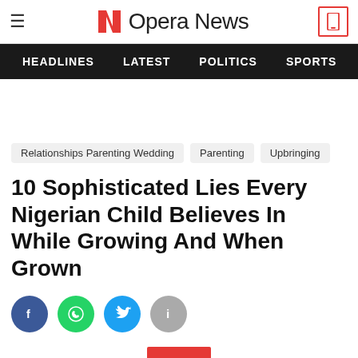Opera News
HEADLINES  LATEST  POLITICS  SPORTS
Relationships Parenting Wedding
Parenting
Upbringing
10 Sophisticated Lies Every Nigerian Child Believes In While Growing And When Grown